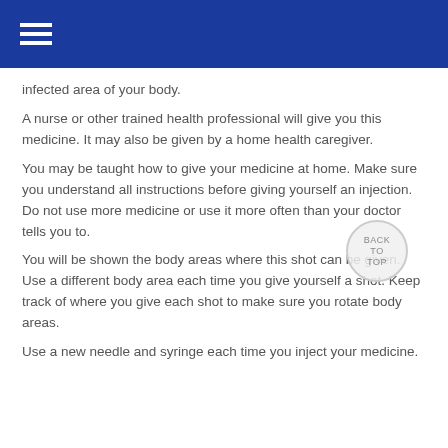≡
infected area of your body.
A nurse or other trained health professional will give you this medicine. It may also be given by a home health caregiver.
You may be taught how to give your medicine at home. Make sure you understand all instructions before giving yourself an injection. Do not use more medicine or use it more often than your doctor tells you to.
You will be shown the body areas where this shot can be given. Use a different body area each time you give yourself a shot. Keep track of where you give each shot to make sure you rotate body areas.
Use a new needle and syringe each time you inject your medicine.